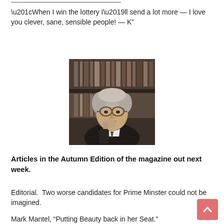“When I win the lottery I’ll send a lot more — I love you clever, sane, sensible people! — K”
[Figure (photo): Black and white photograph of an elderly man with disheveled grey hair, wearing glasses and a dark jumper, resting his chin on his hand, with bookshelves in the background.]
Articles in the Autumn Edition of the magazine out next week.
Editorial.  Two worse candidates for Prime Minster could not be imagined.
Mark Mantel, “Putting Beauty back in her Seat.”